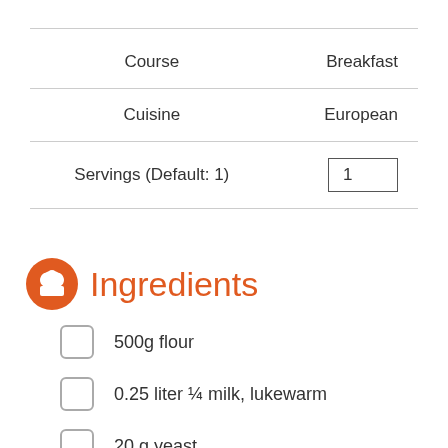| Course | Breakfast |
| --- | --- |
| Cuisine | European |
| Servings (Default: 1) | 1 |
Ingredients
500g flour
0.25 liter ¼ milk, lukewarm
20 g yeast
1 teaspoon salt